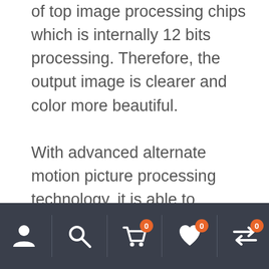of top image processing chips which is internally 12 bits processing. Therefore, the output image is clearer and color more beautiful. With advanced alternate motion picture processing technology, it is able to remove video motion's tailingand aliasing.For PAL/NTSC video, it will bring clearer output. For 1080i signal, it will bring image with abundant details and vivid color. Advanced image scaling technology, support user-defined output resolution, single unit can support horizontal resolution 3840 at maximum, vertical resolution 1920 at
[Figure (other): Mobile app bottom navigation bar with dark background containing icons: person/account, search/magnifier, shopping cart with badge 0, heart/wishlist with badge 0, and arrows/transfer with badge 0]